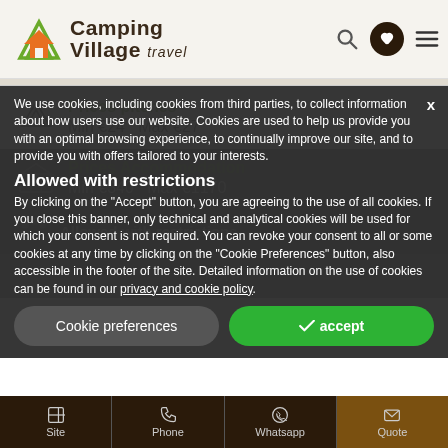[Figure (logo): Camping Village travel logo with house/tent icon]
Prices pitches
Min €24   Max €27
Prices Accommodation
Min €340   Max €1170
Allowed with restrictions
We use cookies, including cookies from third parties, to collect information about how users use our website. Cookies are used to help us provide you with an optimal browsing experience, to continually improve our site, and to provide you with offers tailored to your interests.
By clicking on the "Accept" button, you are agreeing to the use of all cookies. If you close this banner, only technical and analytical cookies will be used for which your consent is not required. You can revoke your consent to all or some cookies at any time by clicking on the "Cookie Preferences" button, also accessible in the footer of the site. Detailed information on the use of cookies can be found in our privacy and cookie policy.
Site   Phone   Whatsapp   Quote